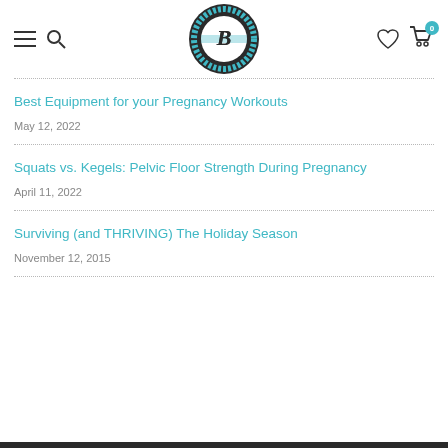Birds & Bees Teas navigation header with logo, hamburger menu, search, heart, and cart icons
Best Equipment for your Pregnancy Workouts
May 12, 2022
Squats vs. Kegels: Pelvic Floor Strength During Pregnancy
April 11, 2022
Surviving (and THRIVING) The Holiday Season
November 12, 2015